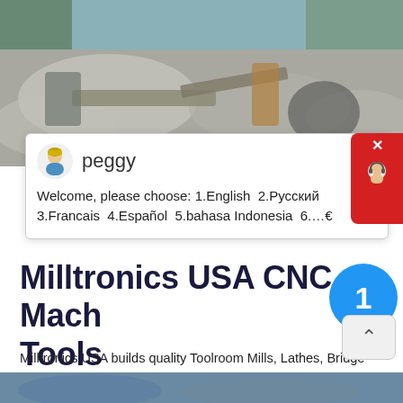[Figure (photo): Quarry or mining site with heavy machinery, conveyor belts, and rocky terrain in the background.]
peggy
Welcome, please choose: 1.English  2.Русский  3.Francais  4.Español  5.bahasa Indonesia  6.…€
Milltronics USA CNC Mach Tools
Milltronics USA builds quality Toolroom Mills, Lathes, Bridge Mills, Vertical Machining Centers and much more. V… site today to see how we can help your shop make money.
[Figure (photo): Partial bottom strip showing another outdoor machinery or equipment scene.]